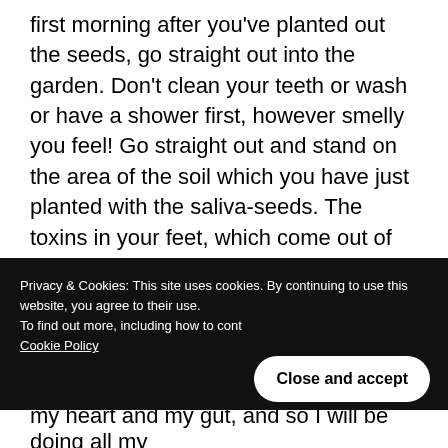first morning after you've planted out the seeds, go straight out into the garden. Don't clean your teeth or wash or have a shower first, however smelly you feel! Go straight out and stand on the area of the soil which you have just planted with the saliva-seeds. The toxins in your feet, which come out of the body at night through your soles and heels, will also inform the seed about the state of your health, and it will be able to communicate with the stars again about any adjustments that may be needed.
Privacy & Cookies: This site uses cookies. By continuing to use this website, you agree to their use. To find out more, including how to cont… Cookie Policy
my heart and my gut, and so I will be doing all my